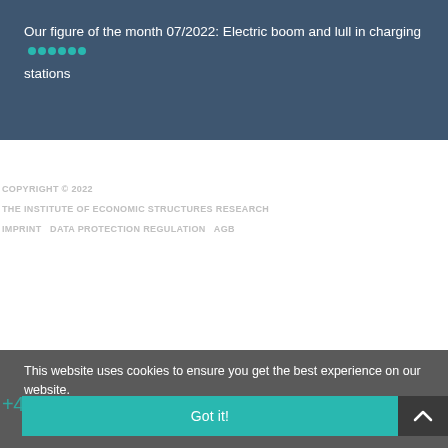Our figure of the month 07/2022: Electric boom and lull in charging stations
COPYRIGHT © 2022
THE INSTITUTE OF ECONOMIC STRUCTURES RESEARCH
IMPRINT  DATA PROTECTION REGULATION  AGB
This website uses cookies to ensure you get the best experience on our website.
+49 541 40933-100
Got it!